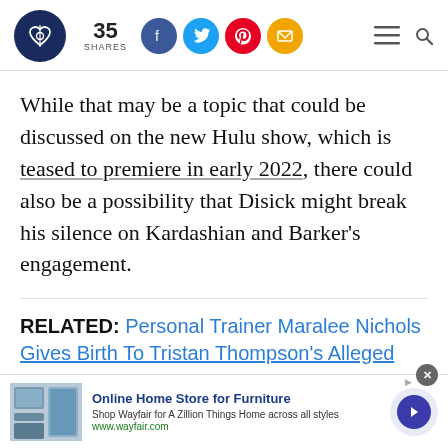35 SHARES [social icons: Facebook, Twitter, Pinterest, Email] [hamburger menu] [search]
While that may be a topic that could be discussed on the new Hulu show, which is teased to premiere in early 2022, there could also be a possibility that Disick might break his silence on Kardashian and Barker's engagement.
RELATED: Personal Trainer Maralee Nichols Gives Birth To Tristan Thompson's Alleged...
[Figure (screenshot): Wayfair advertisement banner: Online Home Store for Furniture. Shop Wayfair for A Zillion Things Home across all styles. www.wayfair.com. With furniture image on left and arrow button on right.]